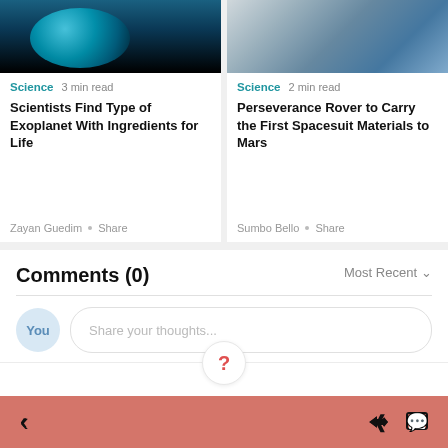[Figure (screenshot): Two article cards side by side. Left card shows a blue planet (exoplanet) image with category 'Science', '3 min read', title 'Scientists Find Type of Exoplanet With Ingredients for Life', author 'Zayan Guedim' and Share link. Right card shows an astronaut in spacesuit image with category 'Science', '2 min read', title 'Perseverance Rover to Carry the First Spacesuit Materials to Mars', author 'Sumbo Bello' and Share link.]
Comments (0)
Most Recent
[Figure (screenshot): Comment input area with 'You' avatar circle and text input placeholder 'Share your thoughts...']
[Figure (screenshot): Bottom navigation bar with back arrow, question mark button, share icon, and chat icon on a salmon/coral background.]